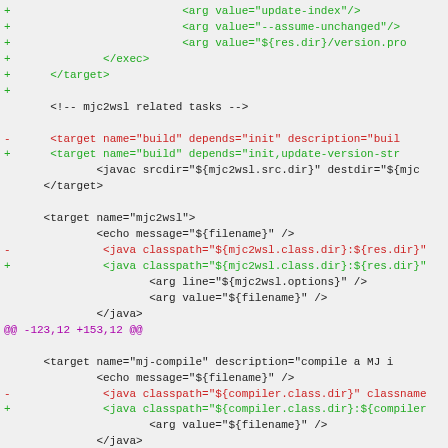[Figure (screenshot): A diff view of an XML build file showing added lines (green), removed lines (red), context lines (black), and hunk headers (magenta). The diff shows changes to target elements including build, mjc2wsl, mj-compile, and mj-samples targets.]